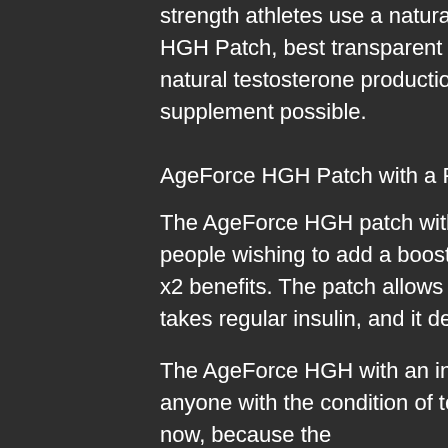strength athletes use a natural testosterone booster like the AgeForce HGH Patch, best transparent labs bulk flavor. It will increase your body's natural testosterone production and give you the most potent strength supplement possible.
AgeForce HGH Patch with a Pump
The AgeForce HGH patch with an injection strength is a great way for people wishing to add a boost of strength to their bodybuilding routine, hgh x2 benefits. The patch allows you to take naturally-produced insulin like it takes regular insulin, and it delivers the same benefits.
The AgeForce HGH with an injection strength makes it suitable for use by anyone with the condition of testosterone deficiency that is very common now, because the